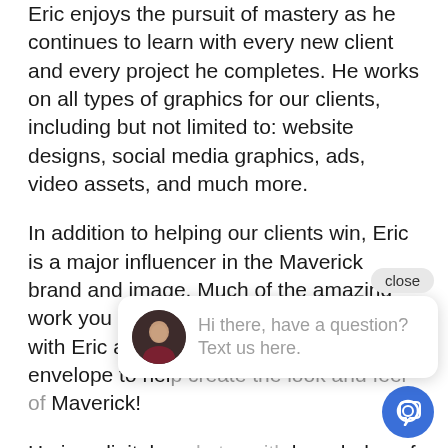Eric enjoys the pursuit of mastery as he continues to learn with every new client and every project he completes. He works on all types of graphics for our clients, including but not limited to: website designs, social media graphics, ads, video assets, and much more.
In addition to helping our clients win, Eric is a major influencer in the Maverick brand and image. Much of the amazing work you see online for Maverick started with Eric and his willingness to push the envelope to help create the look and feel of Maverick!
He is a digital marketer with knowledge of design, creating graphics that not only looks great, but gets results as well. The strategies he uses as a marketer combined with his skillset as a graphic artist, make a huge difference for Maverick and our clients.
[Figure (screenshot): Live chat widget overlay showing a 'close' button, an avatar of a person, and the text 'Hi there, have a question? Text us here.' along with a blue circular chat icon button.]